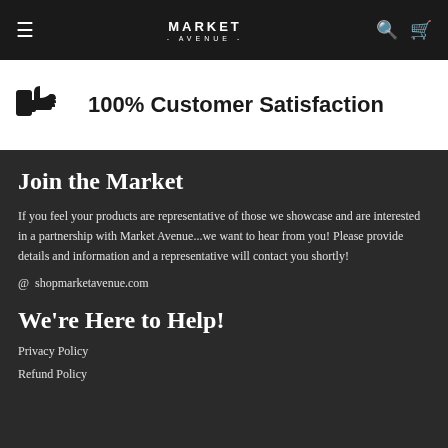MARKET
100% Customer Satisfaction
Join the Market
If you feel your products are representative of those we showcase and are interested in a partnership with Market Avenue...we want to hear from you! Please provide details and information and a representative will contact you shortly!
@ shopmarketavenue.com
We're Here to Help!
Privacy Policy
Refund Policy